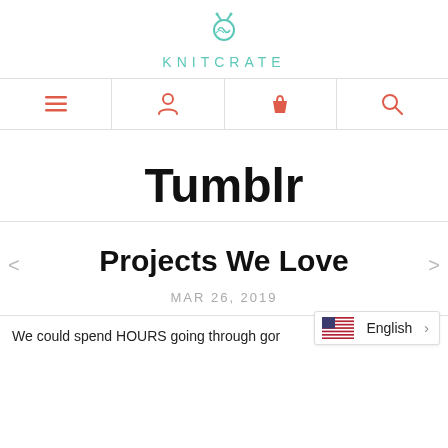KNITCRATE
Tumblr
Projects We Love
MAR 26, 2019
We could spend HOURS going through gor...